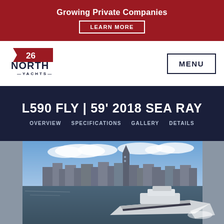Growing Private Companies LEARN MORE
[Figure (logo): 26 North Yachts logo with red flag and dark navy text]
MENU
L590 FLY | 59' 2018 SEA RAY
OVERVIEW   SPECIFICATIONS   GALLERY   DETAILS
[Figure (photo): Photo of a luxury yacht (Sea Ray L590 Fly) cruising on water with New York City skyline in the background including One World Trade Center]